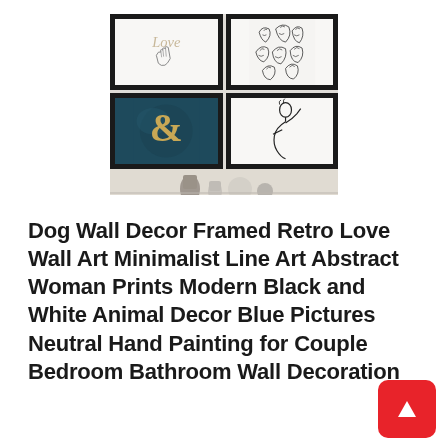[Figure (illustration): A 2x2 grid of framed wall art prints: top-left shows 'Love' script with intertwined hands, top-right shows abstract line-art faces, bottom-left shows a teal background with a gold ampersand symbol, bottom-right shows a minimalist line-art woman figure. Below the frames is a shelf scene with decorative vases.]
Dog Wall Decor Framed Retro Love Wall Art Minimalist Line Art Abstract Woman Prints Modern Black and White Animal Decor Blue Pictures Neutral Hand Painting for Couple Bedroom Bathroom Wall Decoration